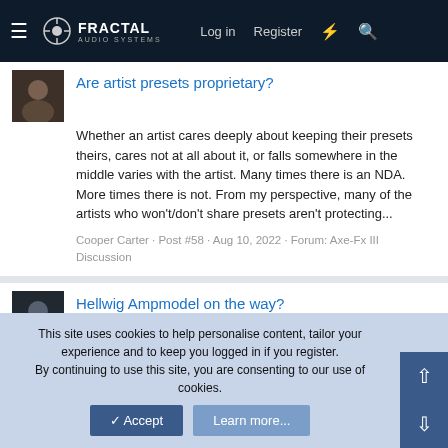Fractal Audio Systems — Log in | Register
Are artist presets proprietary?
Whether an artist cares deeply about keeping their presets theirs, cares not at all about it, or falls somewhere in the middle varies with the artist. Many times there is an NDA. More times there is not. From my perspective, many of the artists who won't/don't share presets aren't protecting...
Cooper Carter · Post #58 · Aug 10, 2022 · Forum: Axe-Fx III Discussion
Hellwig Ampmodel on the way?
As a guiding principle, and as Cliff has said many times here, the higher the gain, the more the discernable tonal differences between heads really just come down to the cab choice. Looks like the preset is no longer up. I believe it was available for a bit after our sessions. Good to hear...
This site uses cookies to help personalise content, tailor your experience and to keep you logged in if you register.
By continuing to use this site, you are consenting to our use of cookies.